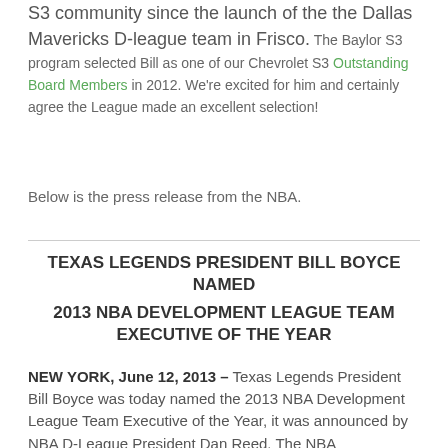S3 community since the launch of the the Dallas Mavericks D-league team in Frisco. The Baylor S3 program selected Bill as one of our Chevrolet S3 Outstanding Board Members in 2012. We're excited for him and certainly agree the League made an excellent selection!
Below is the press release from the NBA.
TEXAS LEGENDS PRESIDENT BILL BOYCE NAMED 2013 NBA DEVELOPMENT LEAGUE TEAM EXECUTIVE OF THE YEAR
NEW YORK, June 12, 2013 – Texas Legends President Bill Boyce was today named the 2013 NBA Development League Team Executive of the Year, it was announced by NBA D-League President Dan Reed. The NBA Development League Team Executive of the Year is determined by peer